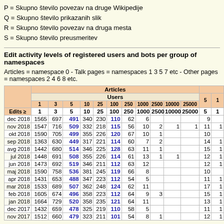P = Skupno število povezav na druge Wikipedije
Q = Skupno število prikazanih slik
R = Skupno število povezav na druga mesta
S = Skupno število preusmeritev
Edit activity levels of registered users and bots per group of namespaces
Articles = namespace 0 - Talk pages = namespaces 1 3 5 7 etc - Other pages = namespaces 2 4 6 8 etc.
|  | Articles (Users: Edits ≥ 1,3,5,10,25,100,250,1000,2500,10000,25000) | 5 1... |
| --- | --- | --- |
| dec 2018 | 1565 | 697 | 491 | 340 | 230 | 110 | 62 | 6 |  |  |  | 9 |
| nov 2018 | 1547 | 716 | 509 | 332 | 218 | 115 | 56 | 10 | 2 | 1 | 1 | 11 |
| okt 2018 | 1590 | 705 | 499 | 355 | 226 | 120 | 67 | 10 | 1 |  |  | 10 |
| sep 2018 | 1363 | 630 | 449 | 317 | 221 | 114 | 60 | 7 | 2 |  |  | 14 |
| avg 2018 | 1442 | 680 | 514 | 346 | 225 | 128 | 63 | 11 | 1 |  |  | 15 |
| jul 2018 | 1448 | 691 | 508 | 355 | 226 | 114 | 61 | 13 | 1 | 1 |  | 12 |
| jun 2018 | 1473 | 692 | 519 | 346 | 211 | 112 | 63 | 12 |  |  |  | 12 |
| maj 2018 | 1590 | 758 | 536 | 381 | 245 | 119 | 66 | 8 |  |  |  | 10 |
| apr 2018 | 1431 | 653 | 488 | 347 | 223 | 112 | 54 | 5 |  |  |  | 11 |
| mar 2018 | 1533 | 689 | 507 | 362 | 248 | 124 | 62 | 11 |  |  |  | 17 |
| feb 2018 | 1605 | 674 | 496 | 358 | 223 | 112 | 64 | 9 | 3 |  |  | 15 |
| jan 2018 | 1664 | 729 | 520 | 358 | 235 | 121 | 64 | 11 |  |  |  | 13 |
| dec 2017 | 1432 | 659 | 478 | 325 | 219 | 110 | 58 | 5 |  |  |  | 11 |
| nov 2017 | 1512 | 660 | 479 | 323 | 211 | 101 | 54 | 8 | 1 |  |  | 12 |